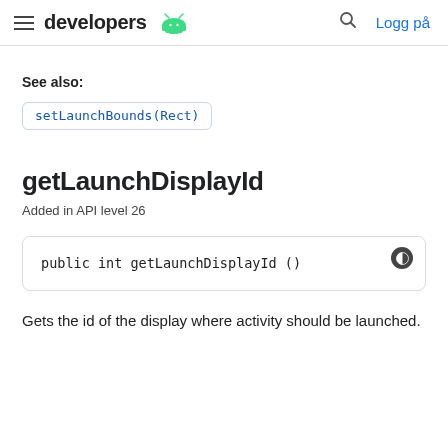developers | Logg på
See also:
setLaunchBounds(Rect)
getLaunchDisplayId
Added in API level 26
public int getLaunchDisplayId ()
Gets the id of the display where activity should be launched.